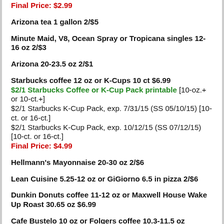Final Price: $2.99
Arizona tea 1 gallon 2/$5
Minute Maid, V8, Ocean Spray or Tropicana singles 12-16 oz 2/$3
Arizona 20-23.5 oz 2/$1
Starbucks coffee 12 oz or K-Cups 10 ct $6.99
$2/1 Starbucks Coffee or K-Cup Pack printable [10-oz.+ or 10-ct.+]
$2/1 Starbucks K-Cup Pack, exp. 7/31/15 (SS 05/10/15) [10-ct. or 16-ct.]
$2/1 Starbucks K-Cup Pack, exp. 10/12/15 (SS 07/12/15) [10-ct. or 16-ct.]
Final Price: $4.99
Hellmann's Mayonnaise 20-30 oz 2/$6
Lean Cuisine 5.25-12 oz or GiGiorno 6.5 in pizza 2/$6
Dunkin Donuts coffee 11-12 oz or Maxwell House Wake Up Roast 30.65 oz $6.99
Cafe Bustelo 10 oz or Folgers coffee 10.3-11.5 oz